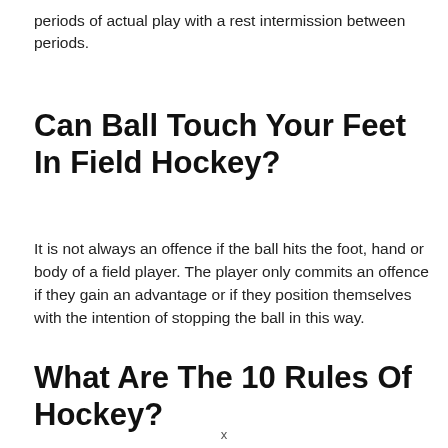periods of actual play with a rest intermission between periods.
Can Ball Touch Your Feet In Field Hockey?
It is not always an offence if the ball hits the foot, hand or body of a field player. The player only commits an offence if they gain an advantage or if they position themselves with the intention of stopping the ball in this way.
What Are The 10 Rules Of Hockey?
x